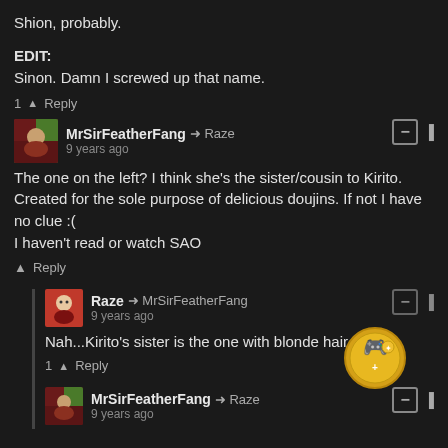Shion, probably.

EDIT:
Sinon. Damn I screwed up that name.
1 ↑ Reply
MrSirFeatherFang → Raze
9 years ago
The one on the left? I think she's the sister/cousin to Kirito. Created for the sole purpose of delicious doujins. If not I have no clue :(
I haven't read or watch SAO
↑ Reply
Raze → MrSirFeatherFang
9 years ago
Nah...Kirito's sister is the one with blonde hair...
1 ↑ Reply
MrSirFeatherFang → Raze
9 years ago